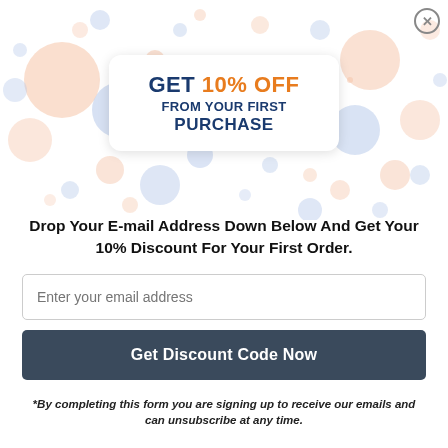[Figure (illustration): Colorful pastel bubbles/circles in blue and peach/salmon colors scattered across the top portion of the popup, with a white rounded rectangle card in the center displaying the promo text.]
GET 10% OFF FROM YOUR FIRST PURCHASE
Drop Your E-mail Address Down Below And Get Your 10% Discount For Your First Order.
Enter your email address
Get Discount Code Now
*By completing this form you are signing up to receive our emails and can unsubscribe at any time.